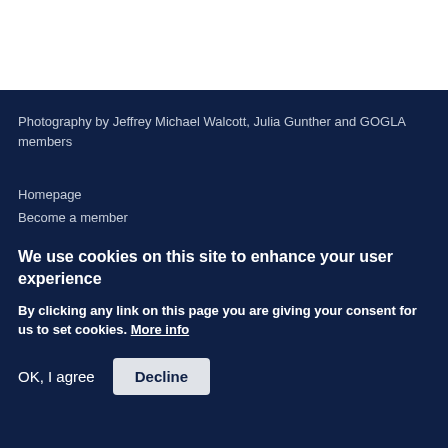Photography by Jeffrey Michael Walcott, Julia Gunther and GOGLA members
Homepage
Become a member
We use cookies on this site to enhance your user experience
By clicking any link on this page you are giving your consent for us to set cookies. More info
OK, I agree   Decline